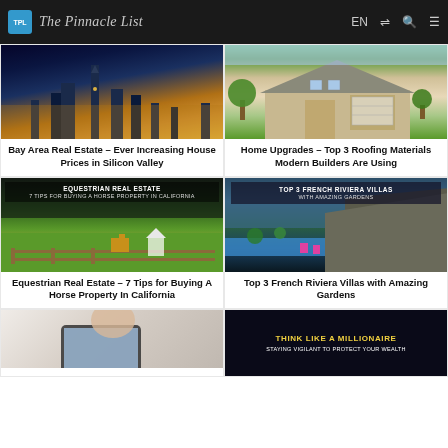The Pinnacle List — navigation bar with logo, EN, shuffle, search, menu icons
[Figure (photo): Night aerial photo of San Francisco skyline with city lights]
Bay Area Real Estate – Ever Increasing House Prices in Silicon Valley
[Figure (photo): Suburban house with garage and green lawn daytime photo]
Home Upgrades – Top 3 Roofing Materials Modern Builders Are Using
[Figure (photo): Equestrian real estate with horse and gazebo on green field, overlay text: EQUESTRIAN REAL ESTATE 7 TIPS FOR BUYING A HORSE PROPERTY IN CALIFORNIA]
Equestrian Real Estate – 7 Tips for Buying A Horse Property In California
[Figure (photo): French Riviera villa with pool overlooking rocky cliffside, overlay text: TOP 3 FRENCH RIVIERA VILLAS WITH AMAZING GARDENS]
Top 3 French Riviera Villas with Amazing Gardens
[Figure (photo): Partial bottom-left image, person using tablet]
[Figure (photo): Dark background promotional image: THINK LIKE A MILLIONAIRE STAYING VIGILANT TO PROTECT YOUR WEALTH]